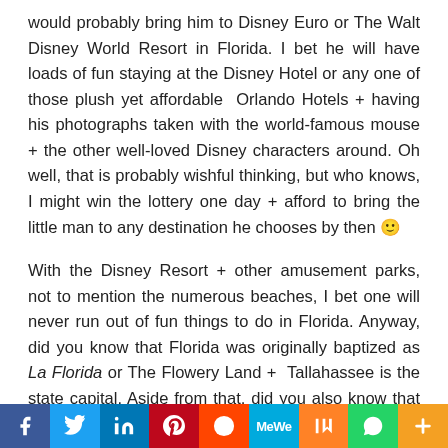would probably bring him to Disney Euro or The Walt Disney World Resort in Florida. I bet he will have loads of fun staying at the Disney Hotel or any one of those plush yet affordable  Orlando Hotels + having his photographs taken with the world-famous mouse + the other well-loved Disney characters around. Oh well, that is probably wishful thinking, but who knows, I might win the lottery one day + afford to bring the little man to any destination he chooses by then 🙂
With the Disney Resort + other amusement parks, not to mention the numerous beaches, I bet one will never run out of fun things to do in Florida. Anyway, did you know that Florida was originally baptized as La Florida or The Flowery Land +  Tallahassee is the state capital. Aside from that, did you also know that it is the fourth most populous state + has the longest coastline in the U.S? You can check out this Facebook for more interesting trivia about Florida,
[Figure (infographic): Social media sharing bar with icons: Facebook (blue), Twitter (light blue), LinkedIn (dark blue), Pinterest (red), Reddit (orange-red), MeWe (cyan), Mix (orange), WhatsApp (green), More/Plus (amber)]